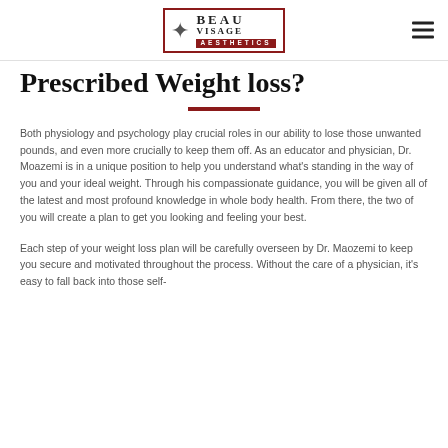Beau Visage Aesthetics
Prescribed Weight loss?
Both physiology and psychology play crucial roles in our ability to lose those unwanted pounds, and even more crucially to keep them off. As an educator and physician, Dr. Moazemi is in a unique position to help you understand what's standing in the way of you and your ideal weight. Through his compassionate guidance, you will be given all of the latest and most profound knowledge in whole body health. From there, the two of you will create a plan to get you looking and feeling your best.
Each step of your weight loss plan will be carefully overseen by Dr. Maozemi to keep you secure and motivated throughout the process. Without the care of a physician, it's easy to fall back into those self-